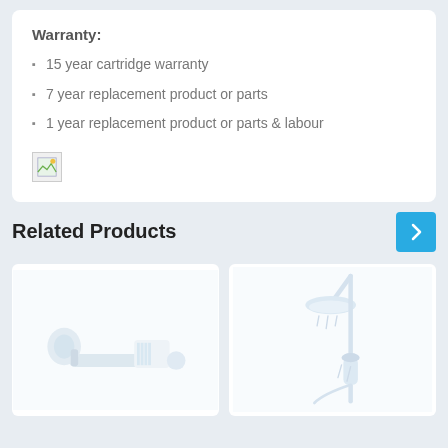Warranty:
15 year cartridge warranty
7 year replacement product or parts
1 year replacement product or parts & labour
[Figure (illustration): Broken/missing image icon placeholder]
Related Products
[Figure (photo): Related product image 1 - toilet roll holder or similar bathroom accessory, light gray/white]
[Figure (photo): Related product image 2 - shower system with overhead rain shower and handheld, light gray/white]